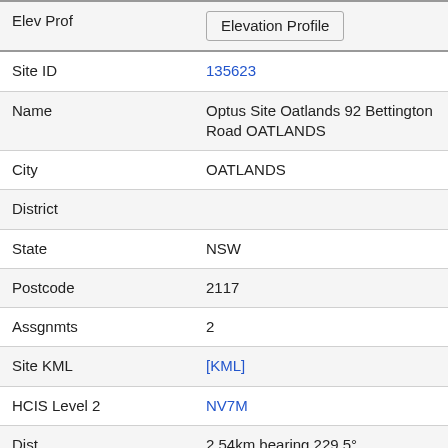| Field | Value |
| --- | --- |
| Elev Prof | Elevation Profile |
| Site ID | 135623 |
| Name | Optus Site Oatlands 92 Bettington Road OATLANDS |
| City | OATLANDS |
| District |  |
| State | NSW |
| Postcode | 2117 |
| Assgnmts | 2 |
| Site KML | [KML] |
| HCIS Level 2 | NV7M |
| Dist | 2.54km bearing 229.5° |
| Elev Prof | Elevation Profile |
| Site ID | 10028843 |
| Name | Optus - FRANKFURT SC6 19 Carlingford Rd Epping |
| City | Epping |